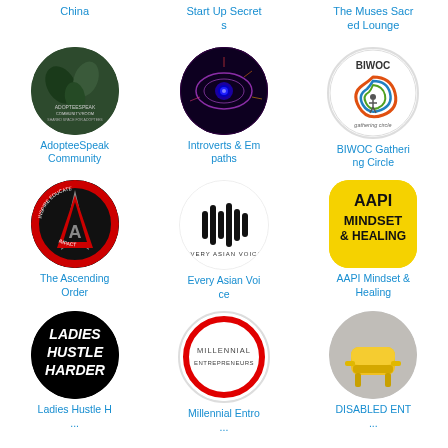China
Start Up Secrets
The Muses Sacred Lounge
[Figure (photo): AdopteeSpeak Community logo - dark green background with leaves and text]
AdopteeSpeak Community
[Figure (photo): Introverts & Empaths logo - glowing eye on dark background]
Introverts & Empaths
[Figure (logo): BIWOC Gathering Circle logo - circular swirl design on white]
BIWOC Gathering Circle
[Figure (logo): The Ascending Order logo - red and black circle with A and INSPIRE EDUCATE IMPACT text]
The Ascending Order
[Figure (logo): Every Asian Voice logo - audio waveform bars with text EVERY ASIAN VOICE]
Every Asian Voice
[Figure (logo): AAPI Mindset & Healing logo - yellow rounded square with bold black text]
AAPI Mindset & Healing
[Figure (logo): Ladies Hustle Harder logo - black circle with white bold text]
Ladies Hustle H...
[Figure (logo): Millennial Entrepreneurs logo - white circle with red border and text]
Millennial Entro...
[Figure (photo): Yellow armchair on grey background]
DISABLED ENT...